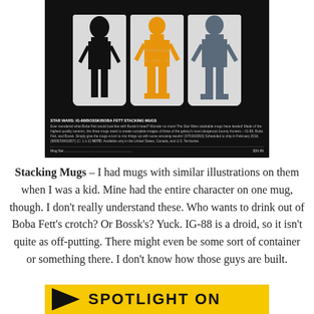[Figure (photo): Catalog image of Star Wars IG-88/Bossk/Boba Fett stacking mugs on black background, with product description text and price $34.99. Photobucket watermark visible.]
Stacking Mugs – I had mugs with similar illustrations on them when I was a kid. Mine had the entire character on one mug, though. I don't really understand these. Who wants to drink out of Boba Fett's crotch? Or Bossk's? Yuck. IG-88 is a droid, so it isn't quite as off-putting. There might even be some sort of container or something there. I don't know how those guys are built.
[Figure (other): Partial banner graphic showing 'SPOTLIGHT ON' text in yellow/black style at bottom of page]